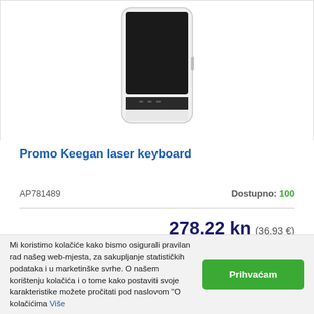[Figure (photo): Product photo of Promo Keegan laser keyboard device — a white and black rectangular gadget with a black display panel and small slot, viewed from front.]
Promo Keegan laser keyboard
AP781489
Dostupno: 100
278,22 kn (36,93 €)
Mi koristimo kolačiće kako bismo osigurali pravilan rad našeg web-mjesta, za sakupljanje statističkih podataka i u marketinške svrhe. O našem korištenju kolačića i o tome kako postaviti svoje karakteristike možete pročitati pod naslovom "O kolačićima Više